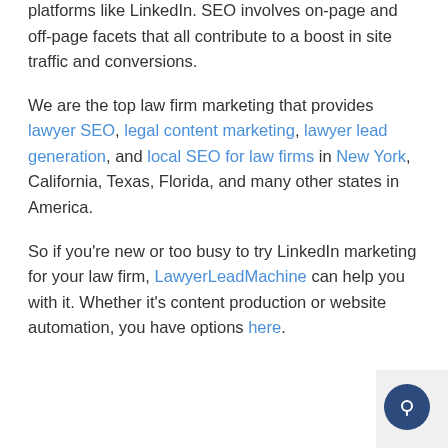platforms like LinkedIn. SEO involves on-page and off-page facets that all contribute to a boost in site traffic and conversions.
We are the top law firm marketing that provides lawyer SEO, legal content marketing, lawyer lead generation, and local SEO for law firms in New York, California, Texas, Florida, and many other states in America.
So if you're new or too busy to try LinkedIn marketing for your law firm, LawyerLeadMachine can help you with it. Whether it's content production or website automation, you have options here.